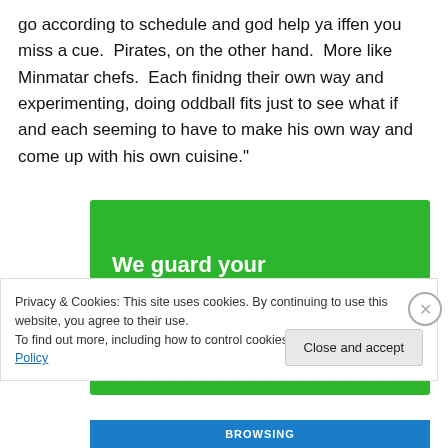go according to schedule and god help ya iffen you miss a cue.  Pirates, on the other hand.  More like Minmatar chefs.  Each finidng their own way and experimenting, doing oddball fits just to see what if and each seeming to have to make his own way and come up with his own cuisine."
[Figure (other): Green advertisement banner reading 'We guard your WordPress site. You run your business.']
Privacy & Cookies: This site uses cookies. By continuing to use this website, you agree to their use.
To find out more, including how to control cookies, see here: Cookie Policy
Close and accept